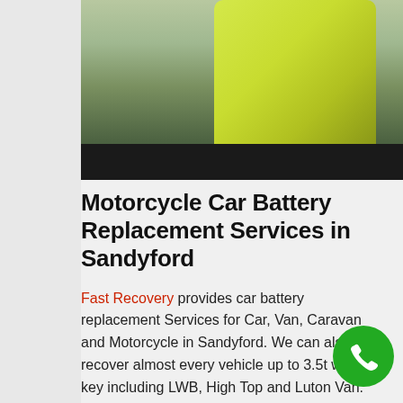[Figure (photo): Person in high-visibility yellow jacket sitting inside a vehicle near the dashboard and steering wheel, with a dark bar overlay at the bottom of the image.]
Motorcycle Car Battery Replacement Services in Sandyford
Fast Recovery provides car battery replacement Services for Car, Van, Caravan and Motorcycle in Sandyford. We can also recover almost every vehicle up to 3.5t without key including LWB, High Top and Luton Van. Here at Fast Recovery we offer safe scooter and motorcycle recovery in Sandyford ranging from 50cc to 1400cc and as well as custom made tricycle recovery in